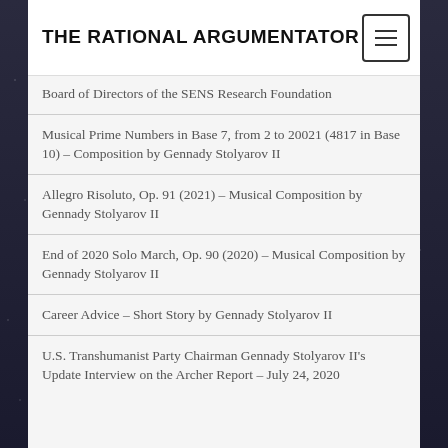THE RATIONAL ARGUMENTATOR
Board of Directors of the SENS Research Foundation
Musical Prime Numbers in Base 7, from 2 to 20021 (4817 in Base 10) – Composition by Gennady Stolyarov II
Allegro Risoluto, Op. 91 (2021) – Musical Composition by Gennady Stolyarov II
End of 2020 Solo March, Op. 90 (2020) – Musical Composition by Gennady Stolyarov II
Career Advice – Short Story by Gennady Stolyarov II
U.S. Transhumanist Party Chairman Gennady Stolyarov II's Update Interview on the Archer Report – July 24, 2020